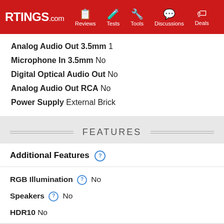RTINGS.com | Reviews | Tests | Tools | Discussions | Deals
Analog Audio Out 3.5mm  1
Microphone In 3.5mm  No
Digital Optical Audio Out  No
Analog Audio Out RCA  No
Power Supply  External Brick
FEATURES
Additional Features
RGB Illumination  No
Speakers  No
HDR10  No